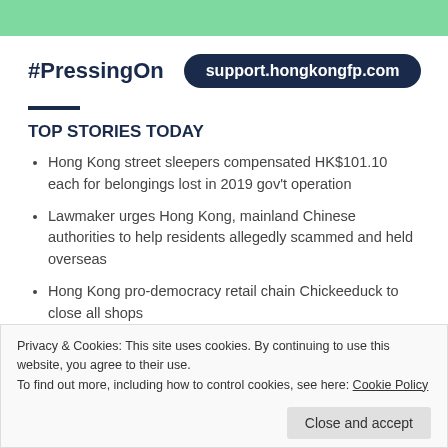#PressingOn  support.hongkongfp.com
TOP STORIES TODAY
Hong Kong street sleepers compensated HK$101.10 each for belongings lost in 2019 gov't operation
Lawmaker urges Hong Kong, mainland Chinese authorities to help residents allegedly scammed and held overseas
Hong Kong pro-democracy retail chain Chickeeduck to close all shops
Privacy & Cookies: This site uses cookies. By continuing to use this website, you agree to their use.
To find out more, including how to control cookies, see here: Cookie Policy
Close and accept